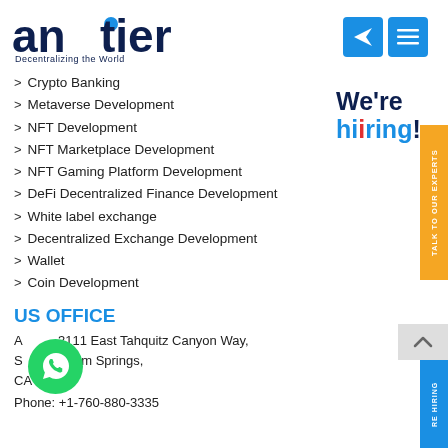antier – Decentralizing the World
Crypto Banking
Metaverse Development
NFT Development
NFT Marketplace Development
NFT Gaming Platform Development
DeFi Decentralized Finance Development
White label exchange
Decentralized Exchange Development
Wallet
Coin Development
[Figure (illustration): We're hiring! promotional badge with blue and dark navy text]
US OFFICE
A 3111 East Tahquitz Canyon Way, Suite Palm Springs, CA 92262
Phone: +1-760-880-3335